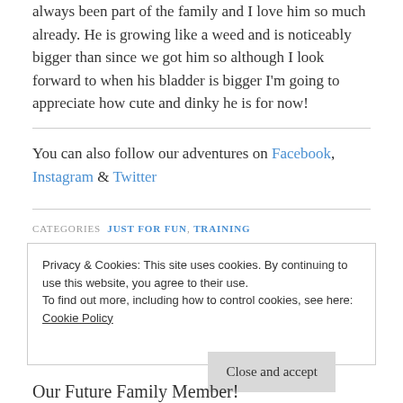always been part of the family and I love him so much already. He is growing like a weed and is noticeably bigger than since we got him so although I look forward to when his bladder is bigger I'm going to appreciate how cute and dinky he is for now!
You can also follow our adventures on Facebook, Instagram & Twitter
CATEGORIES  JUST FOR FUN, TRAINING
Privacy & Cookies: This site uses cookies. By continuing to use this website, you agree to their use.
To find out more, including how to control cookies, see here:
Cookie Policy
Close and accept
Our Future Family Member!